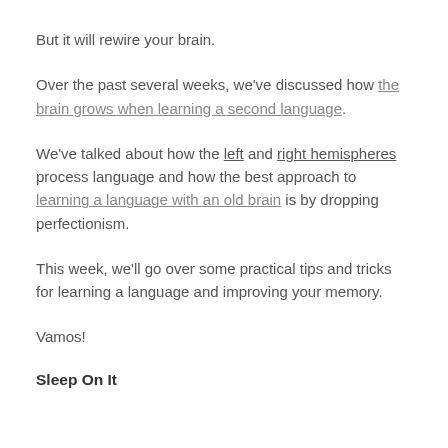But it will rewire your brain.
Over the past several weeks, we've discussed how the brain grows when learning a second language.
We've talked about how the left and right hemispheres process language and how the best approach to learning a language with an old brain is by dropping perfectionism.
This week, we'll go over some practical tips and tricks for learning a language and improving your memory.
Vamos!
Sleep On It